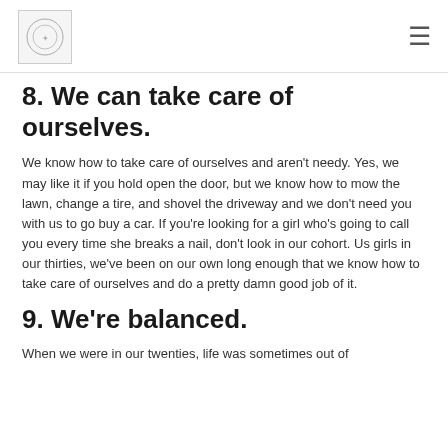[logo] [hamburger menu]
8. We can take care of ourselves.
We know how to take care of ourselves and aren't needy. Yes, we may like it if you hold open the door, but we know how to mow the lawn, change a tire, and shovel the driveway and we don't need you with us to go buy a car. If you're looking for a girl who's going to call you every time she breaks a nail, don't look in our cohort. Us girls in our thirties, we've been on our own long enough that we know how to take care of ourselves and do a pretty damn good job of it.
9. We're balanced.
When we were in our twenties, life was sometimes out of